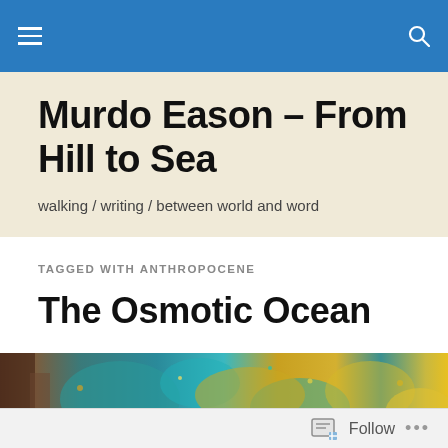navigation bar with hamburger menu and search icon
Murdo Eason – From Hill to Sea
walking / writing / between world and word
TAGGED WITH ANTHROPOCENE
The Osmotic Ocean
[Figure (photo): Photograph of what appears to be colourful mineral or ocean-floor texture in teal, gold, and brown hues]
Follow ...